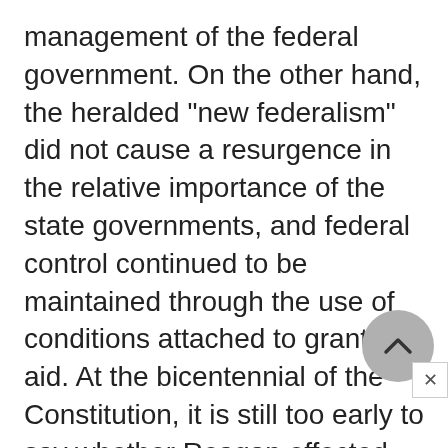management of the federal government. On the other hand, the heralded "new federalism" did not cause a resurgence in the relative importance of the state governments, and federal control continued to be maintained through the use of conditions attached to grants-in-aid. At the bicentennial of the Constitution, it is still too early to say whether Reagan effected, as he said he would, “another American revolution.”